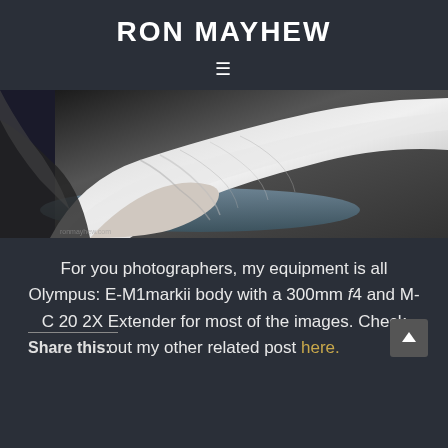RON MAYHEW
[Figure (photo): Close-up photograph of a pelican, showing white feathers and beak detail in black and white tones]
For you photographers, my equipment is all Olympus: E-M1markii body with a 300mm f4 and M-C 20 2X Extender for most of the images. Check out my other related post here.
Share this: